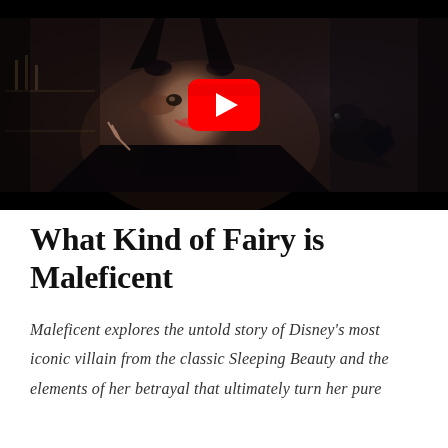[Figure (screenshot): YouTube video thumbnail showing Maleficent character (woman in black horned costume with dark wings) smiling, with a raven on right side, dark atmospheric background. A large red YouTube play button is overlaid in the center.]
What Kind of Fairy is Maleficent
Maleficent explores the untold story of Disney's most iconic villain from the classic Sleeping Beauty and the elements of her betrayal that ultimately turn her pure